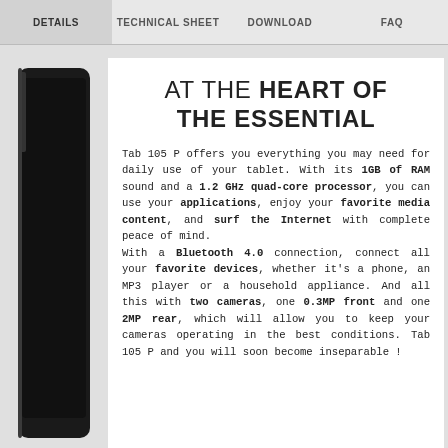DETAILS | TECHNICAL SHEET | DOWNLOAD | FAQ
AT THE HEART OF THE ESSENTIAL
Tab 105 P offers you everything you may need for daily use of your tablet. With its 1GB of RAM sound and a 1.2 GHz quad-core processor, you can use your applications, enjoy your favorite media content, and surf the Internet with complete peace of mind.
With a Bluetooth 4.0 connection, connect all your favorite devices, whether it's a phone, an MP3 player or a household appliance. And all this with two cameras, one 0.3MP front and one 2MP rear, which will allow you to keep your cameras operating in the best conditions. Tab 105 P and you will soon become inseparable !